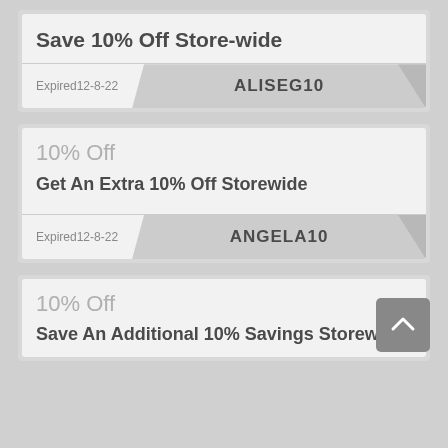Save 10% Off Store-wide
Expired12-8-22
ALISEG10
10% Off
Get An Extra 10% Off Storewide
Expired12-8-22
ANGELA10
10% Off
Save An Additional 10% Savings Storewide